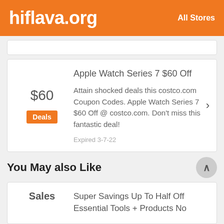hiflava.org   All Stores
$60 | Deals | Apple Watch Series 7 $60 Off | Attain shocked deals this costco.com Coupon Codes. Apple Watch Series 7 $60 Off @ costco.com. Don't miss this fantastic deal! | Expired 3-7-22
You May also Like
Sales | Super Savings Up To Half Off Essential Tools + Products No